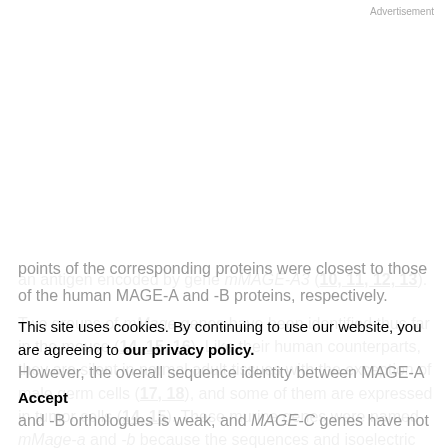Advertisement
an antigen encoded by gene mMAGE-A3 (10, 11, 12, 13).
Two groups of mMage genes have been identified thus far in the mouse (14, 15, 16). Like their human counterparts, they are silent in normal adult tissues with the exception of male germ cells (17, 18), and some of them are expressed in tumor cells (14, 15). These murine genes were named mMage-a and -b because the sequences and isoelectric points of the corresponding proteins were closest to those of the human MAGE-A and -B proteins, respectively. However, the overall sequence identity between MAGE-A and -B orthologues is weak, and MAGE-C genes have not
This site uses cookies. By continuing to use our website, you are agreeing to our privacy policy.
Accept